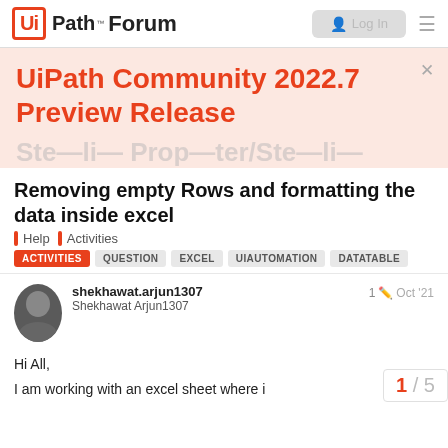UiPath Forum — Log In
[Figure (screenshot): UiPath Community 2022.7 Preview Release announcement banner with orange background and close button]
Removing empty Rows and formatting the data inside excel
Help | Activities
ACTIVITIES   QUESTION   EXCEL   UIAUTOMATION   DATATABLE
shekhawat.arjun1307
Shekhawat Arjun1307
1   Oct '21
Hi All,
I am working with an excel sheet where i
1 / 5